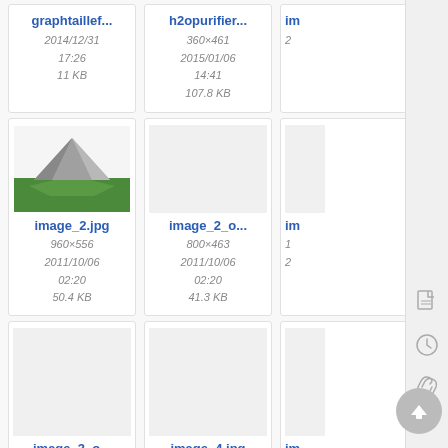graphtaillef...
2014/12/31 17:26
11 KB
h2opurifier...
360×461
2015/01/06 14:41
107.8 KB
im
2
[Figure (photo): 3D rendered mountain/pyramid shape on green terrain]
image_2.jpg
960×556
2011/10/06 02:20
50.4 KB
image_2_o...
800×463
2011/10/06 02:20
41.3 KB
im
image_3_o...
800×227
image_4.jpg
1022×400
im